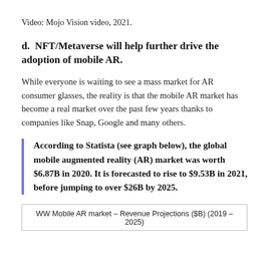Video: Mojo Vision video, 2021.
d.  NFT/Metaverse will help further drive the adoption of mobile AR.
While everyone is waiting to see a mass market for AR consumer glasses, the reality is that the mobile AR market has become a real market over the past few years thanks to companies like Snap, Google and many others.
According to Statista (see graph below), the global mobile augmented reality (AR) market was worth $6.87B in 2020. It is forecasted to rise to $9.53B in 2021, before jumping to over $26B by 2025.
WW Mobile AR market – Revenue Projections ($B) (2019 – 2025)